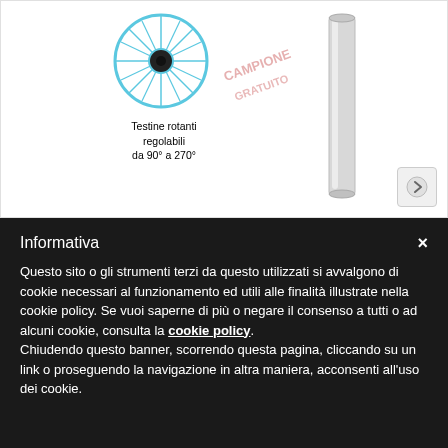[Figure (photo): Product image area showing a rotating head wheel/eye icon with caption 'Testine rotanti regolabili da 90° a 270°', a diagonal stamp watermark, and a cylindrical product on the right side. An arrow navigation button is in the bottom right corner.]
Testine rotanti regolabili da 90° a 270°
Informativa

Questo sito o gli strumenti terzi da questo utilizzati si avvalgono di cookie necessari al funzionamento ed utili alle finalità illustrate nella cookie policy. Se vuoi saperne di più o negare il consenso a tutti o ad alcuni cookie, consulta la cookie policy. Chiudendo questo banner, scorrendo questa pagina, cliccando su un link o proseguendo la navigazione in altra maniera, acconsenti all'uso dei cookie.